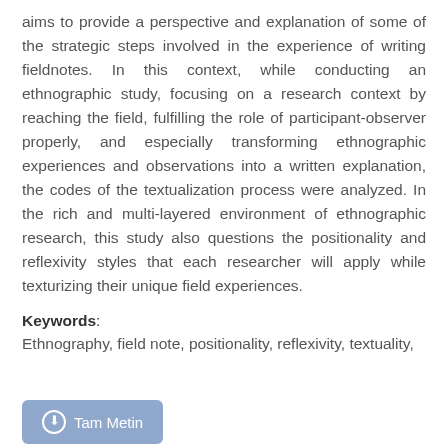aims to provide a perspective and explanation of some of the strategic steps involved in the experience of writing fieldnotes. In this context, while conducting an ethnographic study, focusing on a research context by reaching the field, fulfilling the role of participant-observer properly, and especially transforming ethnographic experiences and observations into a written explanation, the codes of the textualization process were analyzed. In the rich and multi-layered environment of ethnographic research, this study also questions the positionality and reflexivity styles that each researcher will apply while texturizing their unique field experiences.
Keywords: Ethnography, field note, positionality, reflexivity, textuality,